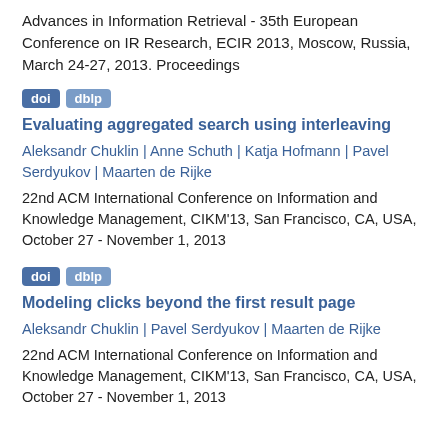Advances in Information Retrieval - 35th European Conference on IR Research, ECIR 2013, Moscow, Russia, March 24-27, 2013. Proceedings
doi   dblp
Evaluating aggregated search using interleaving
Aleksandr Chuklin | Anne Schuth | Katja Hofmann | Pavel Serdyukov | Maarten de Rijke
22nd ACM International Conference on Information and Knowledge Management, CIKM'13, San Francisco, CA, USA, October 27 - November 1, 2013
doi   dblp
Modeling clicks beyond the first result page
Aleksandr Chuklin | Pavel Serdyukov | Maarten de Rijke
22nd ACM International Conference on Information and Knowledge Management, CIKM'13, San Francisco, CA, USA, October 27 - November 1, 2013